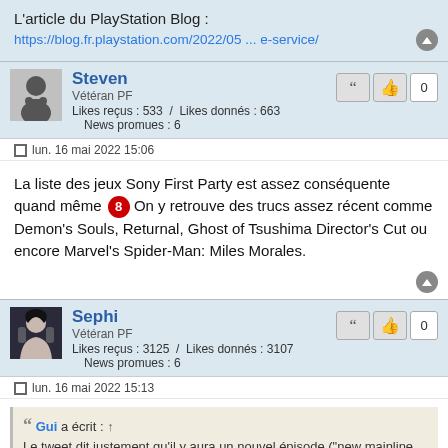L'article du PlayStation Blog :
https://blog.fr.playstation.com/2022/05 ... e-service/
Steven
Vétéran PF
Likes reçus : 533  /  Likes donnés : 663
News promues : 6
lun. 16 mai 2022 15:06
La liste des jeux Sony First Party est assez conséquente quand même 😎 On y retrouve des trucs assez récent comme Demon's Souls, Returnal, Ghost of Tsushima Director's Cut ou encore Marvel's Spider-Man: Miles Morales.
Sephi
Vétéran PF
Likes reçus : 3125  /  Likes donnés : 3107
News promues : 6
lun. 16 mai 2022 15:13
Gui a écrit : ↑
Le tweet dit justement qu'il y aura un nouvel épisode ("new mainline